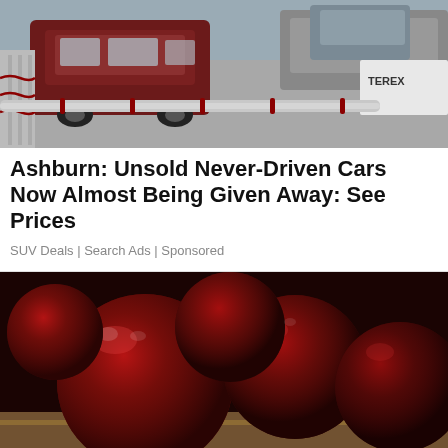[Figure (photo): Aerial/overhead view of a parking lot with vehicles including a dark red SUV, metal fencing/barriers, and a Terex branded vehicle or equipment on the right side.]
Ashburn: Unsold Never-Driven Cars Now Almost Being Given Away: See Prices
SUV Deals | Search Ads | Sponsored
[Figure (photo): Close-up photo of shiny dark red/burgundy cherries or similar dark fruit on a wooden surface.]
[Figure (photo): Photo of a home exterior wall with a security camera or doorbell camera mounted near a wall lantern fixture.]
Homeowners Are Trading In Their Doorbell Cams For This
Camerca | Sponsored